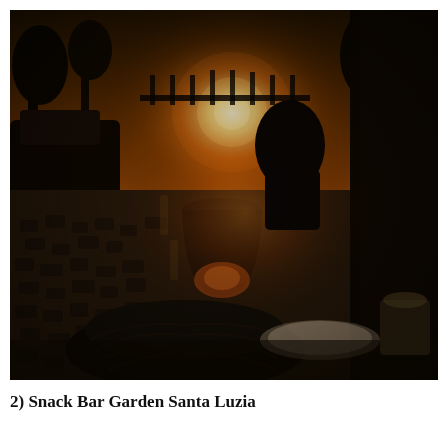[Figure (photo): Outdoor café scene at sunset. In the foreground is a wicker basket/bowl and a wine glass backlit by golden sunlight. A cobblestone street is visible in the middle ground, with parked cars and silhouetted trees in the background against a bright sun glare. The scene is taken from Snack Bar Garden Santa Luzia.]
2) Snack Bar Garden Santa Luzia